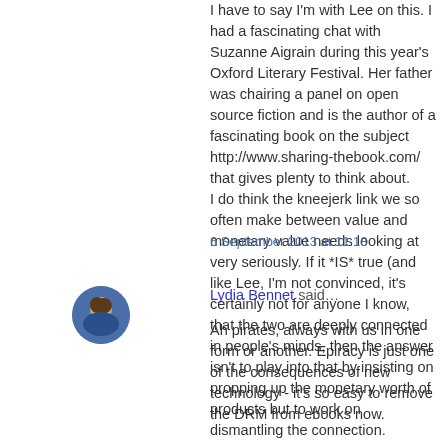I have to say I'm with Lee on this. I had a fascinating chat with Suzanne Aigrain during this year's Oxford Literary Festival. Her father was chairing a panel on open source fiction and is the author of a fascinating book on the subject http://www.sharing-thebook.com/ that gives plenty to think about.
I do think the kneejerk link we so often make between value and monetary value needs looking at very seriously. If it *IS* true (and like Lee, I'm not convinced, it's certainly not for anyone I know, that the two are deeply connected in people's minds, then the answer isn't to play into that by insisting on propping up the monetary worth of products but to work on dismantling the connection.
6 September 2013 at 11:18
[Figure (photo): Circular avatar photo of Lydia Bennet, a woman with blonde hair wearing a blue outfit]
Lydia Bennet said...
Ah pirates, always with us in one form or another. Epiracy is just one of the consequences of new technology - it's so easy to remove the DRM from ebooks now.